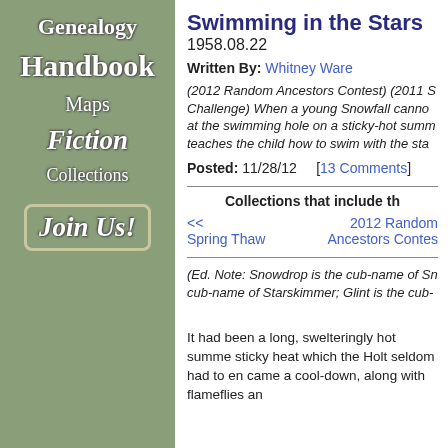Genealogy
Handbook
Maps
Fiction
Collections
Join Us!
Swimming in the Stars  1958.08.22
Written By: Whitney Ware
(2012 Random Ancestors Contest) (2011 S Challenge) When a young Snowfall cannot at the swimming hole on a sticky-hot summer teaches the child how to swim with the sta
Posted: 11/28/12   [13 Comments]
Collections that include th
<<  Spring Thaw    2012 Random Ancestors Contes
(Ed. Note: Snowdrop is the cub-name of Sn cub-name of Starskimmer; Glint is the cub-
It had been a long, swelteringly hot summe sticky heat which the Holt seldom had to en came a cool-down, along with flameflies an